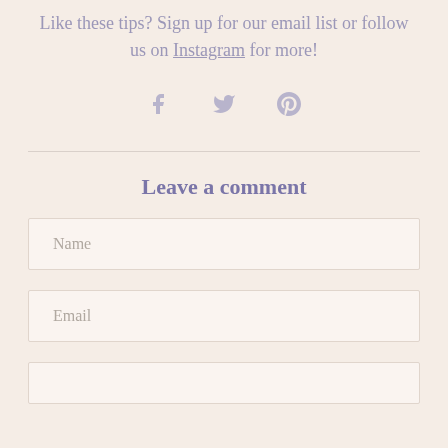Like these tips?  Sign up for our email list or follow us on Instagram for more!
[Figure (infographic): Three social media icons: Facebook (f), Twitter (bird), Pinterest (p)]
Leave a comment
Name
Email